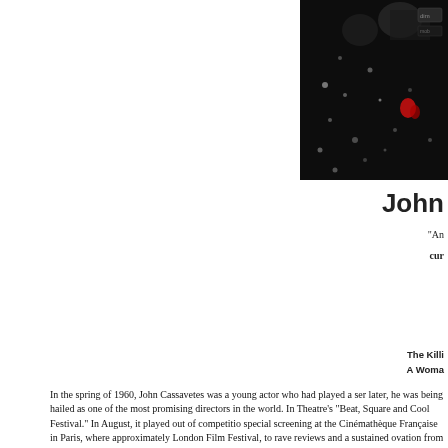[Figure (photo): Dark film still image, primarily black with some figures and a small red accent, appears to be a movie poster or film image]
John
"An
cur
The Killi
A Woma
In the spring of 1960, John Cassavetes was a young actor who had played a ser later, he was being hailed as one of the most promising directors in the world. In Theatre's "Beat, Square and Cool Festival." In August, it played out of competitio special screening at the Cinémathèque Française in Paris, where approximately London Film Festival, to rave reviews and a sustained ovation from the audience crowds and taking in more money than any film in the theatre's twenty-five year h Cassavetes attended the opening with members of the cast and crew, and was o whom had ever played an important film role before) was hailed by one critic as Shadows the most artistically satisfying and exciting film I have seen in a dea